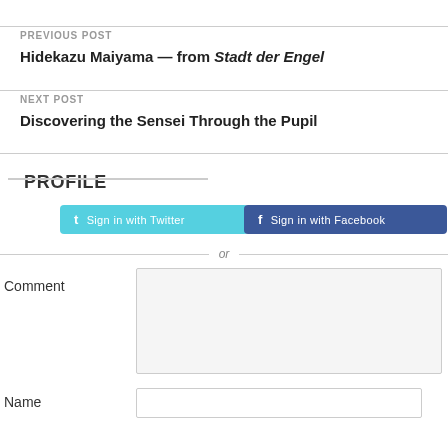PREVIOUS POST
Hidekazu Maiyama — from Stadt der Engel
NEXT POST
Discovering the Sensei Through the Pupil
PROFILE
Sign in with Twitter
Sign in with Facebook
or
Comment
Name